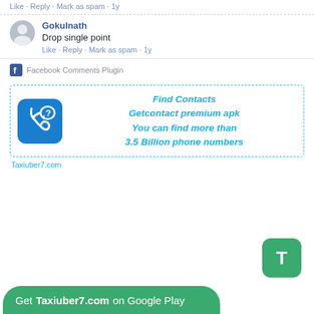Like · Reply · Mark as spam · 1y
Gokulnath
Drop single point
Like · Reply · Mark as spam · 1y
Facebook Comments Plugin
[Figure (infographic): Ad banner with phone icon: Find Contacts - Getcontact premium apk - You can find more than 3.5 Billion phone numbers]
Taxiuber7.com
Get Taxiuber7.com on Google Play